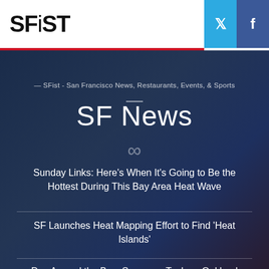SFiST
[Figure (logo): SFist logo with Twitter and Facebook social buttons in top right]
— SFist - San Francisco News, Restaurants, Events, & Sports
SF News
Sunday Links: Here's When It's Going to Be the Hottest During This Bay Area Heat Wave
SF Launches Heat Mapping Effort to Find 'Heat Islands'
Day Around the Bay: Someone Took an Oakland